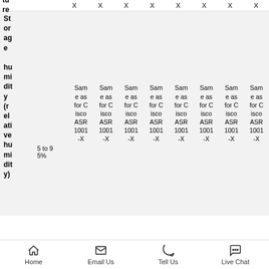|  |  | Col1 | Col2 | Col3 | Col4 | Col5 | Col6 | Col7 | Col8 |
| --- | --- | --- | --- | --- | --- | --- | --- | --- | --- |
| tu
re | X | X | X | X | X | X | X | X |
| St
or
ag
e
hu
mi
dit
y
(r
el
ati
ve
hu
mi
dit
y) | 5 to 9
5% | Same as for Cisco ASR 1001-X | Same as for Cisco ASR 1001-X | Same as for Cisco ASR 1001-X | Same as for Cisco ASR 1001-X | Same as for Cisco ASR 1001-X | Same as for Cisco ASR 1001-X | Same as for Cisco ASR 1001-X | Same as for Cisco ASR 1001-X |
Home  Email Us  Tell Us  Live Chat